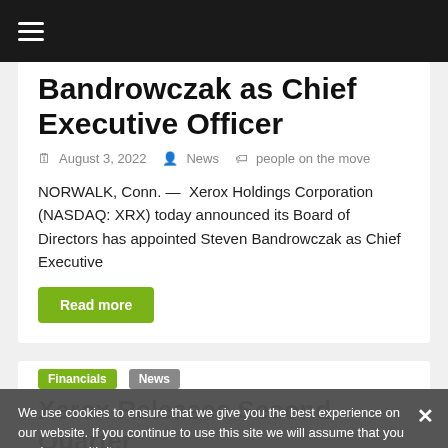☰ (navigation menu)
Bandrowczak as Chief Executive Officer
August 3, 2022  News  people on the move
NORWALK, Conn. —  Xerox Holdings Corporation (NASDAQ: XRX) today announced its Board of Directors has appointed Steven Bandrowczak as Chief Executive
Read more
Financials  News
Xerox Releases Second Quarter Results
July 28, 2022  News
We use cookies to ensure that we give you the best experience on our website. If you continue to use this site we will assume that you are happy with it.